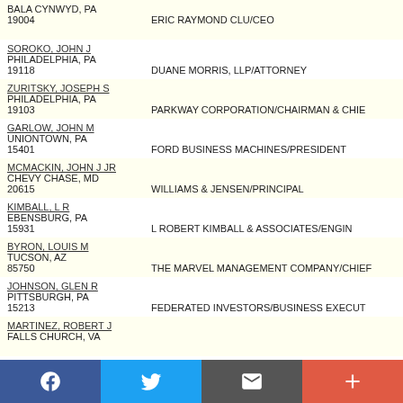BALA CYNWYD, PA 19004 | ERIC RAYMOND CLU/CEO
SOROKO, JOHN J | PHILADELPHIA, PA 19118 | DUANE MORRIS, LLP/ATTORNEY
ZURITSKY, JOSEPH S | PHILADELPHIA, PA 19103 | PARKWAY CORPORATION/CHAIRMAN & CHIE
GARLOW, JOHN M | UNIONTOWN, PA 15401 | FORD BUSINESS MACHINES/PRESIDENT
MCMACKIN, JOHN J JR | CHEVY CHASE, MD 20615 | WILLIAMS & JENSEN/PRINCIPAL
KIMBALL, L R | EBENSBURG, PA 15931 | L ROBERT KIMBALL & ASSOCIATES/ENGIN
BYRON, LOUIS M | TUCSON, AZ 85750 | THE MARVEL MANAGEMENT COMPANY/CHIEF
JOHNSON, GLEN R | PITTSBURGH, PA 15213 | FEDERATED INVESTORS/BUSINESS EXECUT
MARTINEZ, ROBERT J | FALLS CHURCH, VA
[Figure (infographic): Social media share bar with Facebook, Twitter, Email, and Plus buttons]